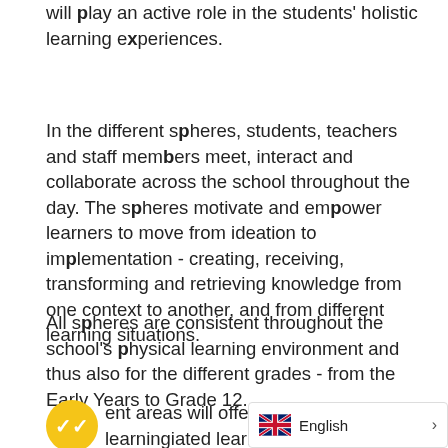will play an active role in the students' holistic learning experiences.
In the different spheres, students, teachers and staff members meet, interact and collaborate across the school throughout the day. The spheres motivate and empower learners to move from ideation to implementation - creating, receiving, transforming and retrieving knowledge from one context to another, and from different learning situations.
All spheres are consistent throughout the school's physical learning environment and thus also for the different grades - from the Early Years to Grade 12.
ent areas will offer differentiated learning experiences. The school will be a p